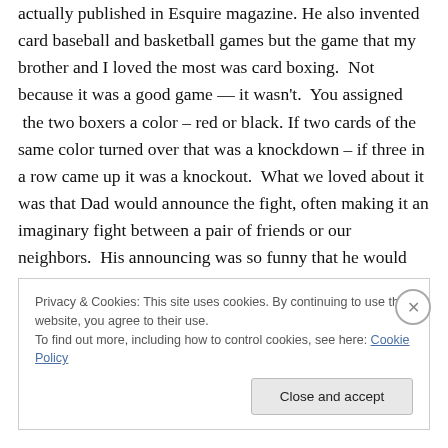actually published in Esquire magazine. He also invented card baseball and basketball games but the game that my brother and I loved the most was card boxing.  Not because it was a good game — it wasn't.  You assigned  the two boxers a color – red or black. If two cards of the same color turned over that was a knockdown – if three in a row came up it was a knockout.  What we loved about it was that Dad would announce the fight, often making it an imaginary fight between a pair of friends or our neighbors.  His announcing was so funny that he would have us in hysterics.
Privacy & Cookies: This site uses cookies. By continuing to use this website, you agree to their use.
To find out more, including how to control cookies, see here: Cookie Policy